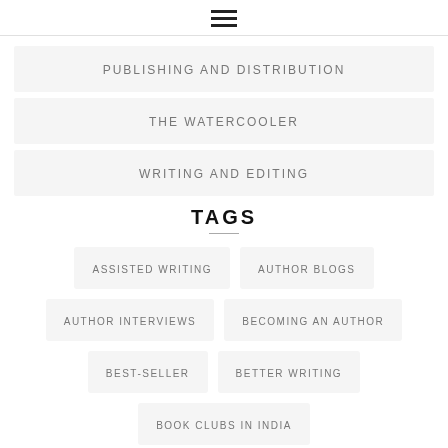☰ (hamburger menu icon)
PUBLISHING AND DISTRIBUTION
THE WATERCOOLER
WRITING AND EDITING
TAGS
ASSISTED WRITING
AUTHOR BLOGS
AUTHOR INTERVIEWS
BECOMING AN AUTHOR
BEST-SELLER
BETTER WRITING
BOOK CLUBS IN INDIA